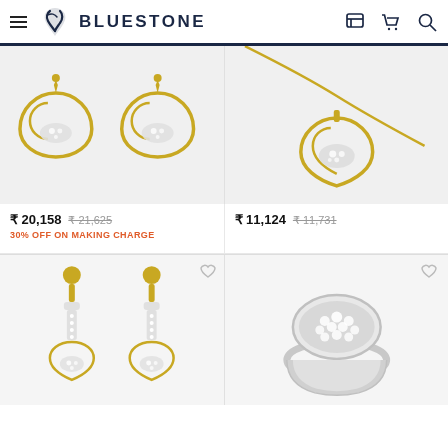BLUESTONE
[Figure (photo): Gold heart-shaped diamond stud earrings pair on light gray background]
[Figure (photo): Gold heart-shaped diamond pendant necklace on light gray background]
₹ 20,158  ₹ 21,625
30% OFF ON MAKING CHARGE
₹ 11,124  ₹ 11,731
[Figure (photo): Gold diamond drop earrings with heart motif on light gray background]
[Figure (photo): White gold/silver oval diamond cluster ring on light gray background]